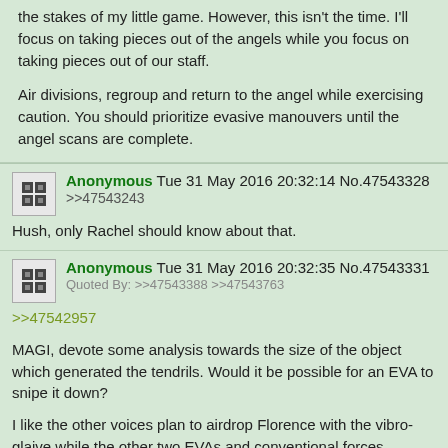the stakes of my little game. However, this isn't the time. I'll focus on taking pieces out of the angels while you focus on taking pieces out of our staff.

Air divisions, regroup and return to the angel while exercising caution. You should prioritize evasive manouvers until the angel scans are complete.
Anonymous Tue 31 May 2016 20:32:14 No.47543328
>>47543243
Hush, only Rachel should know about that.
Anonymous Tue 31 May 2016 20:32:35 No.47543331
Quoted By: >>47543388 >>47543763
>>47542957
MAGI, devote some analysis towards the size of the object which generated the tendrils. Would it be possible for an EVA to snipe it down?

I like the other voices plan to airdrop Florence with the vibro-glaive while the other two EVAs and conventional forces distract it.

Is there anyway we could hide an N2 mine under it's projected path just before it reaches the residential area?